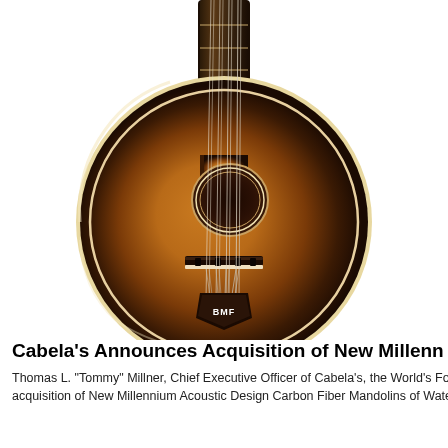[Figure (photo): A mandolin with a sunburst finish (amber/brown gradient), round body, visible sound hole with decorative inlay, tailpiece labeled 'BMF', bridge, and strings. The neck extends upward out of frame. White background.]
Cabela's Announces Acquisition of New Millenn
Thomas L. "Tommy" Millner, Chief Executive Officer of Cabela's, the World's Fore... acquisition of New Millennium Acoustic Design Carbon Fiber Mandolins of Water...